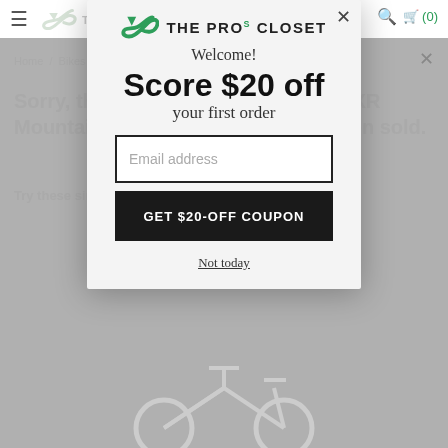[Figure (screenshot): Background webpage content from The Pros Closet showing navigation bar, breadcrumb, and greyed-out product page for Mondraker Foxy Carbon XR Mountain Bike]
[Figure (screenshot): Modal popup overlay with The Pros Closet logo, welcome message, '$20 off first order' offer, email address input field, 'GET $20-OFF COUPON' button, and 'Not today' dismissal link]